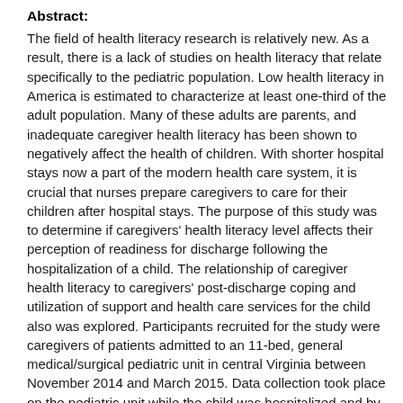Abstract:
The field of health literacy research is relatively new. As a result, there is a lack of studies on health literacy that relate specifically to the pediatric population. Low health literacy in America is estimated to characterize at least one-third of the adult population. Many of these adults are parents, and inadequate caregiver health literacy has been shown to negatively affect the health of children. With shorter hospital stays now a part of the modern health care system, it is crucial that nurses prepare caregivers to care for their children after hospital stays. The purpose of this study was to determine if caregivers' health literacy level affects their perception of readiness for discharge following the hospitalization of a child. The relationship of caregiver health literacy to caregivers' post-discharge coping and utilization of support and health care services for the child also was explored. Participants recruited for the study were caregivers of patients admitted to an 11-bed, general medical/surgical pediatric unit in central Virginia between November 2014 and March 2015. Data collection took place on the pediatric unit while the child was hospitalized and by telephone after the child's discharge. In this study